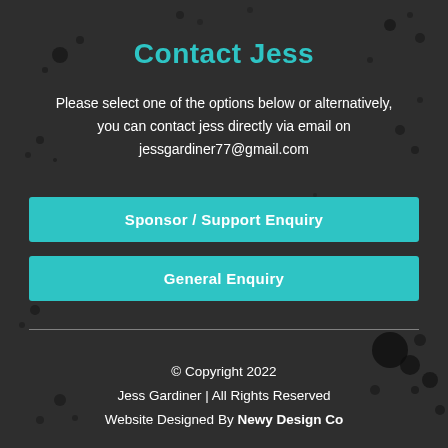Contact Jess
Please select one of the options below or alternatively, you can contact jess directly via email on jessgardiner77@gmail.com
Sponsor / Support Enquiry
General Enquiry
© Copyright 2022
Jess Gardiner | All Rights Reserved
Website Designed By Newy Design Co